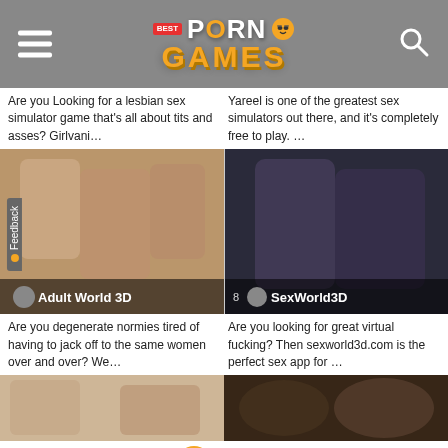Best Porn Games
Are you Looking for a lesbian sex simulator game that's all about tits and asses? Girlvani…
Yareel is one of the greatest sex simulators out there, and it's completely free to play. …
[Figure (screenshot): Adult World 3D game screenshot showing 3D animated adult content with title overlay]
[Figure (screenshot): SexWorld3D game screenshot showing 3D animated adult content with number 8 and title overlay]
Are you degenerate normies tired of having to jack off to the same women over and over? We…
Are you looking for great virtual fucking? Then sexworld3d.com is the perfect sex app for …
[Figure (screenshot): Bottom left game screenshot partial view]
[Figure (screenshot): Bottom right game screenshot partial view]
631+
Best Porn Games